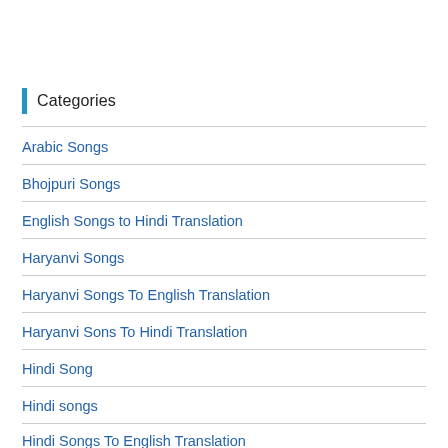Categories
Arabic Songs
Bhojpuri Songs
English Songs to Hindi Translation
Haryanvi Songs
Haryanvi Songs To English Translation
Haryanvi Sons To Hindi Translation
Hindi Song
Hindi songs
Hindi Songs To English Translation